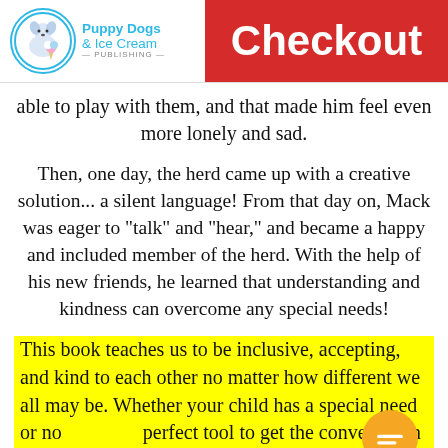Puppy Dogs & Ice Cream PUBLISHING | Checkout
able to play with them, and that made him feel even more lonely and sad.
Then, one day, the herd came up with a creative solution... a silent language! From that day on, Mack was eager to "talk" and "hear," and became a happy and included member of the herd. With the help of his new friends, he learned that understanding and kindness can overcome any special needs!
This book teaches us to be inclusive, accepting, and kind to each other no matter how different we all may be. Whether your child has a special need or not, a perfect tool to get the conversation going about people with disabilities or impairments.